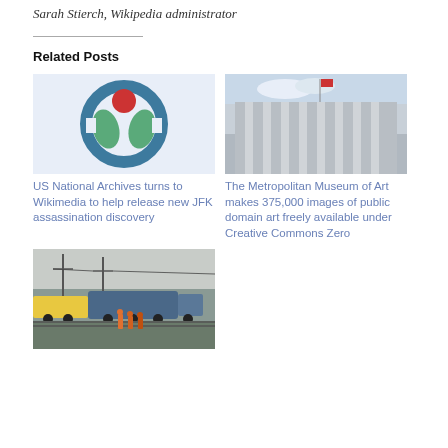Sarah Stierch, Wikipedia administrator
Related Posts
[Figure (logo): Wikimedia logo: teal circular ring with two green leaves and a red circle on top, on a light blue background]
US National Archives turns to Wikimedia to help release new JFK assassination discovery
[Figure (photo): Exterior facade of the Metropolitan Museum of Art building with columns, flag, and partly cloudy sky]
The Metropolitan Museum of Art makes 375,000 images of public domain art freely available under Creative Commons Zero
[Figure (photo): Train yard scene with a locomotive, rail cars, utility poles and wires, workers in orange vests in the foreground]